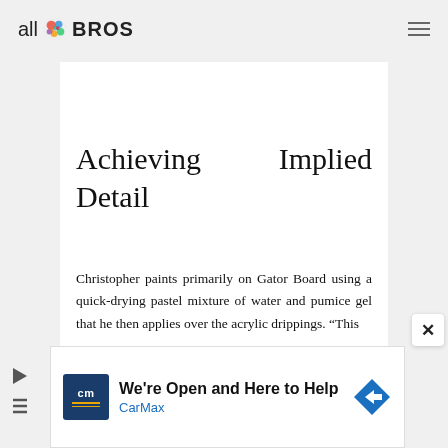all BROS
Achieving Implied Detail
Christopher paints primarily on Gator Board using a quick-drying pastel mixture of water and pumice gel that he then applies over the acrylic drippings. "This
[Figure (infographic): CarMax advertisement banner: CarMax logo (cm), text 'We're Open and Here to Help', CarMax brand name in blue, navigation arrow icon]
[Figure (other): Close button (X) overlay in bottom right of article]